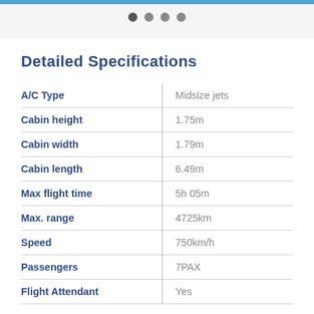Detailed Specifications
|  |  |
| --- | --- |
| A/C Type | Midsize jets |
| Cabin height | 1.75m |
| Cabin width | 1.79m |
| Cabin length | 6.49m |
| Max flight time | 5h 05m |
| Max. range | 4725km |
| Speed | 750km/h |
| Passengers | 7PAX |
| Flight Attendant | Yes |